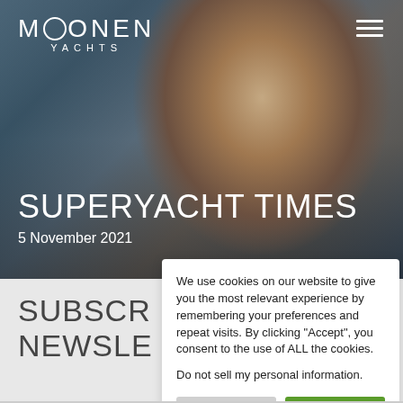[Figure (photo): Hero image of a man wearing sunglasses on a superyacht, with the Moonen Yachts logo top-left and hamburger menu top-right. Text overlay reads 'SUPERYACHT TIMES' and '5 November 2021'.]
SUPERYACHT TIMES
5 November 2021
We use cookies on our website to give you the most relevant experience by remembering your preferences and repeat visits. By clicking “Accept”, you consent to the use of ALL the cookies.
Do not sell my personal information.
SUBSCR
NEWSLE